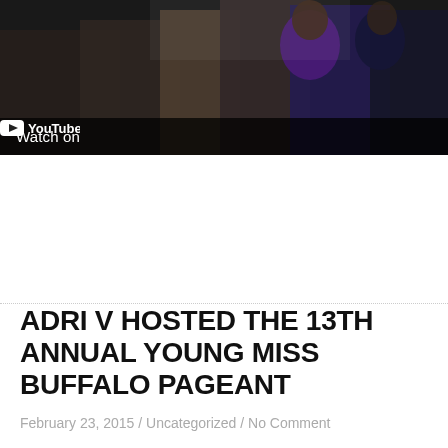[Figure (screenshot): YouTube video thumbnail showing a crowd scene with people, with a 'Watch on YouTube' overlay bar at the bottom]
ADRI V HOSTED THE 13TH ANNUAL YOUNG MISS BUFFALO PAGEANT
February 23, 2015 / Uncategorized / No Comment